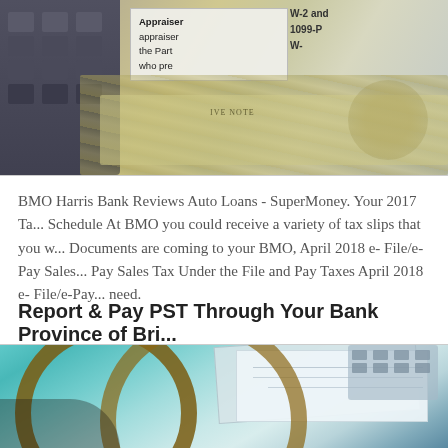[Figure (photo): Photo of tax documents (W-2, 1099-P forms), US currency bills, and a calculator keyboard on a desk surface.]
BMO Harris Bank Reviews Auto Loans - SuperMoney. Your 2017 Tax Schedule At BMO you could receive a variety of tax slips that you w... Documents are coming to your BMO, April 2018 e- File/e-Pay Sales... Pay Sales Tax Under the File and Pay Taxes April 2018 e- File/e-Pay... need.
Report & Pay PST Through Your Bank Province of Bri...
[Figure (photo): Close-up photo of glasses, papers/binder, and a keyboard on a teal/blue background, suggesting financial or office work.]